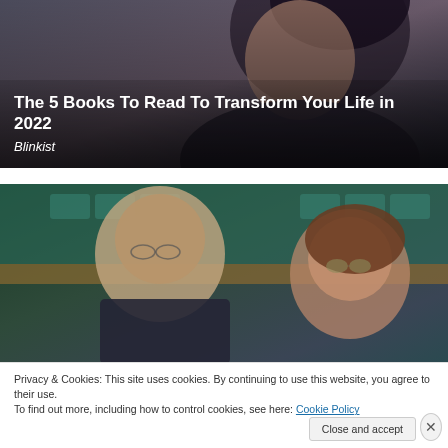[Figure (photo): A woman with dark hair and red lipstick photographed from the side in a dark setting]
The 5 Books To Read To Transform Your Life in 2022
Blinkist
[Figure (photo): Two people wearing sunglasses sitting in stadium seating — a man with grey hair and beard in a dark suit, and a woman with brown hair]
Privacy & Cookies: This site uses cookies. By continuing to use this website, you agree to their use.
To find out more, including how to control cookies, see here: Cookie Policy
Close and accept